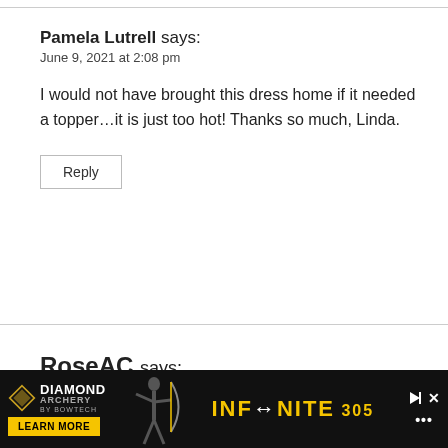Pamela Lutrell says:
June 9, 2021 at 2:08 pm
I would not have brought this dress home if it needed a topper…it is just too hot! Thanks so much, Linda.
Reply
RoseAC says:
Ju...
[Figure (other): Diamond Archery advertisement banner with Infinite 305 bow, yellow and black branding, Learn More button, play and close controls, and Wix logo]